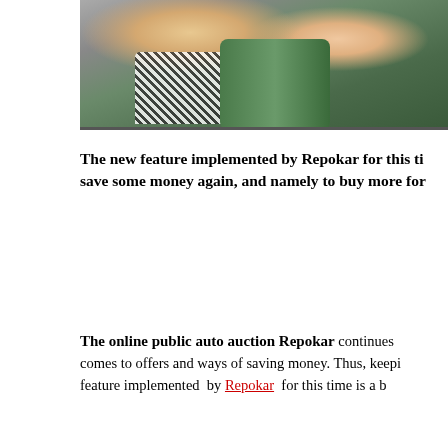[Figure (photo): Two young people smiling inside a green vehicle, one wearing a white patterned shirt]
The new feature implemented by Repokar for this ti… save some money again, and namely to buy more for…
The online public auto auction Repokar continues… comes to offers and ways of saving money. Thus, keepi… feature implemented by Repokar for this time is a b…